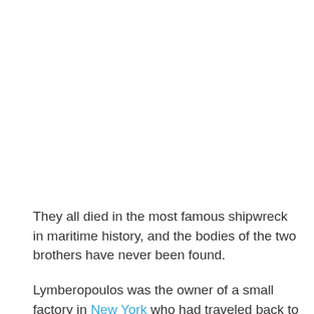They all died in the most famous shipwreck in maritime history, and the bodies of the two brothers have never been found.
Lymberopoulos was the owner of a small factory in New York who had traveled back to Greece to visit